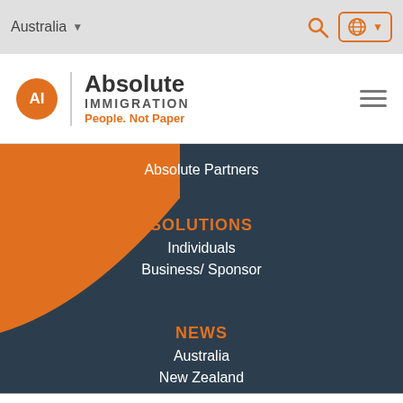Australia
[Figure (logo): Absolute Immigration logo with orange circle AI, text 'Absolute IMMIGRATION People. Not Paper']
Absolute Partners
SOLUTIONS
Individuals
Business/ Sponsor
NEWS
Australia
New Zealand
GTI Program